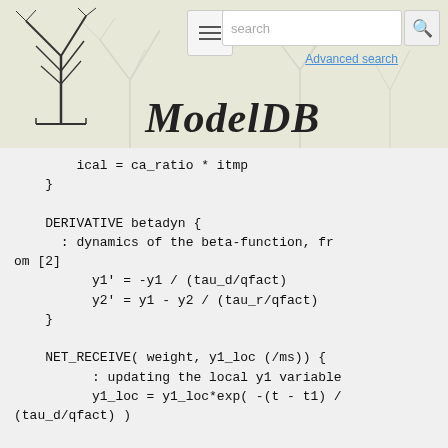ModelDB — Advanced search
ical = ca_ratio * itmp
}

DERIVATIVE betadyn {
  : dynamics of the beta-function, from [2]
      y1' = -y1 / (tau_d/qfact)
      y2' = y1 - y2 / (tau_r/qfact)
}

NET_RECEIVE( weight, y1_loc (/ms)) {
      : updating the local y1 variable
      y1_loc = y1_loc*exp( -(t - t1) / (tau_d/qfact) )

      : y1_add is dependent on the present value of the local
      : y1 variable, y1_loc
      y1_add = (1 - y1_loc/saturation)